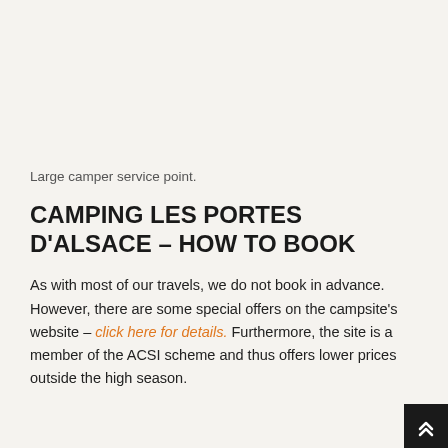Large camper service point.
CAMPING LES PORTES D'ALSACE – HOW TO BOOK
As with most of our travels, we do not book in advance. However, there are some special offers on the campsite's website – click here for details. Furthermore, the site is a member of the ACSI scheme and thus offers lower prices outside the high season.